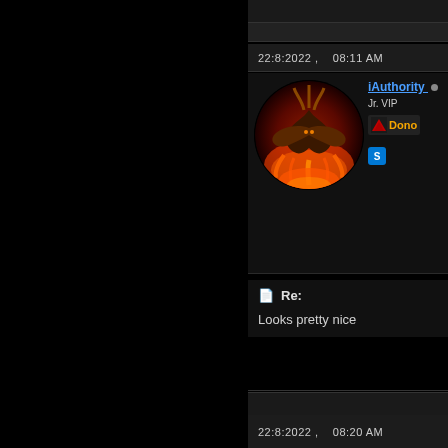22:8:2022 ,   08:11 AM
[Figure (illustration): Circular avatar image showing a fiery phoenix/mockingjay bird with flames against dark background]
iAuthority Jr. VIP Donor
📄 Re:
Looks pretty nice
22:8:2022 ,   08:20 AM